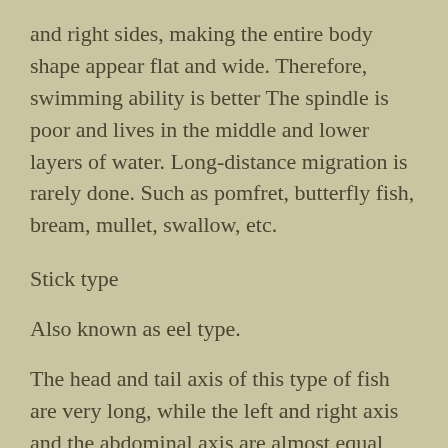and right sides, making the entire body shape appear flat and wide. Therefore, swimming ability is better The spindle is poor and lives in the middle and lower layers of water. Long-distance migration is rarely done. Such as pomfret, butterfly fish, bream, mullet, swallow, etc.
Stick type
Also known as eel type.
The head and tail axis of this type of fish are very long, while the left and right axis and the abdominal axis are almost equal and very short, making the whole body shape like a stick. Its swimming ability is stronger than that of the side flat type and the flat flat type. It is